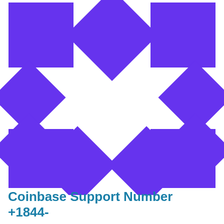[Figure (logo): Decorative geometric pattern made of purple squares and rotated squares arranged in a star/snowflake pattern on white background]
Coinbase Support Number +1844-